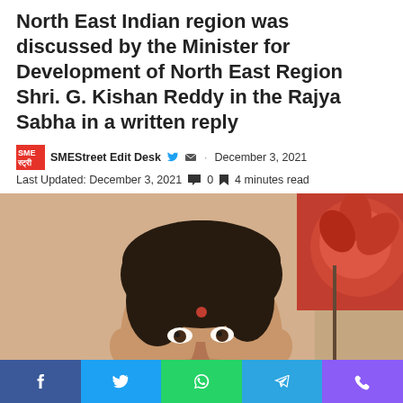North East Indian region was discussed by the Minister for Development of North East Region Shri. G. Kishan Reddy in the Rajya Sabha in a written reply
SMEStreet Edit Desk · December 3, 2021
Last Updated: December 3, 2021  0  4 minutes read
[Figure (photo): Photo of a man (Shri. G. Kishan Reddy) with dark hair, looking slightly to the left, with a red bindi on his forehead. Background shows a blurred reddish flower/decoration and a beige/tan wall. The image is blurred/out-of-focus.]